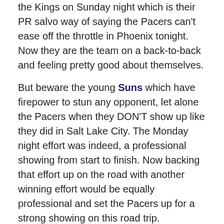the Kings on Sunday night which is their PR salvo way of saying the Pacers can't ease off the throttle in Phoenix tonight. Now they are the team on a back-to-back and feeling pretty good about themselves.
But beware the young Suns which have firepower to stun any opponent, let alone the Pacers when they DON'T show up like they did in Salt Lake City. The Monday night effort was indeed, a professional showing from start to finish. Now backing that effort up on the road with another winning effort would be equally professional and set the Pacers up for a strong showing on this road trip.
Check out the links:
Game Rewind: Pacers 121, Jazz 88 | Indiana Pacers
Game Preview Report | Indiana Pacers